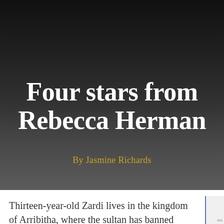navigation bar with search and menu icons
Four stars from Rebecca Herman
By Jasmine Richards
Thirteen-year-old Zardi lives in the kingdom of Arribitha, where the sultan has banned